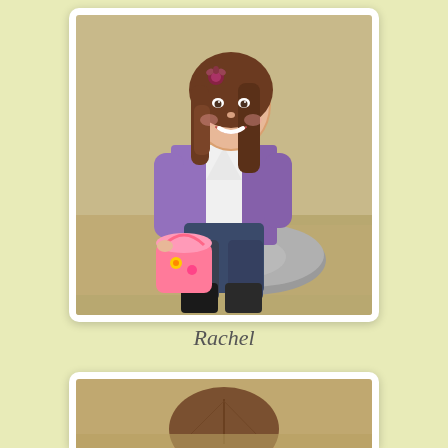[Figure (photo): A young girl with long brown hair and a flower clip, wearing a purple cardigan over a white shirt and dark jeans with black boots, sitting on a rock outdoors on dry grass, holding a pink Easter bucket with decorations.]
Rachel
[Figure (photo): Partial view of a child with brown hair, shown from behind/top, sitting outdoors.]